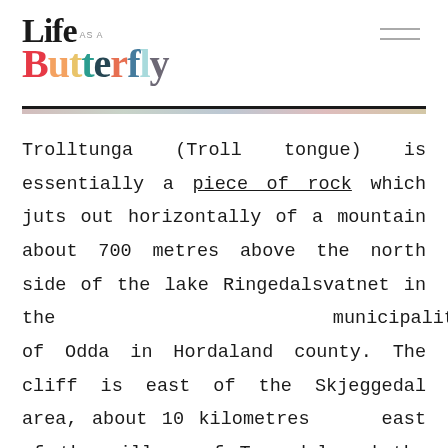Life as a Butterfly
Trolltunga (Troll tongue) is essentially a piece of rock which juts out horizontally of a mountain about 700 metres above the north side of the lake Ringedalsvatnet in the municipality of Odda in Hordaland county. The cliff is east of the Skjeggedal area, about 10 kilometres east of the village of Tyssedal and the Sørfjorden. It is one of the most spectacular scenic cliffs in